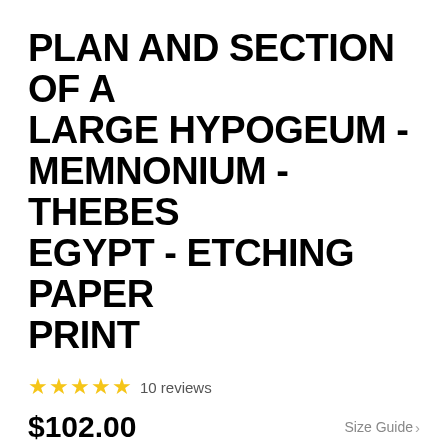PLAN AND SECTION OF A LARGE HYPOGEUM - MEMNONIUM - THEBES EGYPT - ETCHING PAPER PRINT
★★★★★ 10 reviews
$102.00
Size Guide >
OR 4 INTEREST-FREE PAYMENTS OF $25.50 WITH sezzle
SIZE